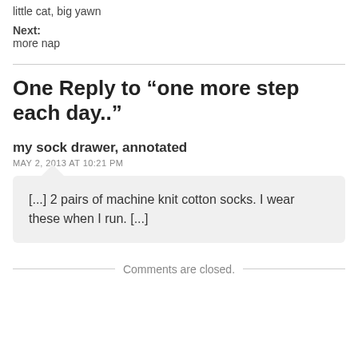little cat, big yawn
Next:
more nap
One Reply to “one more step each day..”
my sock drawer, annotated
MAY 2, 2013 AT 10:21 PM
[...] 2 pairs of machine knit cotton socks. I wear these when I run. [...]
Comments are closed.